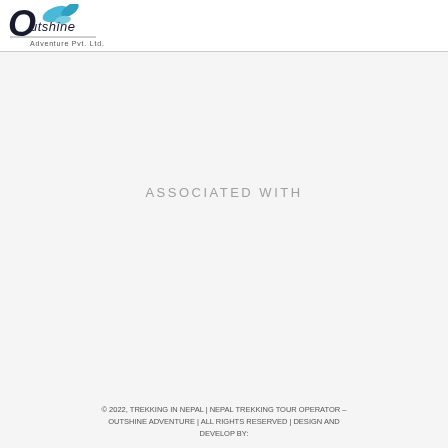Outshine Adventure Pvt. Ltd.
ASSOCIATED WITH
© 2022, TREKKING IN NEPAL | NEPAL TREKKING TOUR OPERATOR – OUTSHINE ADVENTURE | ALL RIGHTS RESERVED | DESIGN AND DEVELOP BY: